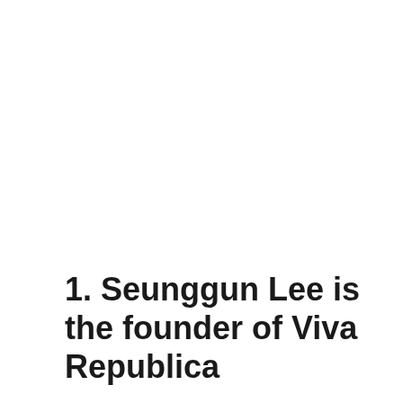1. Seunggun Lee is the founder of Viva Republica
According to Crunchbase, Mr. Lee is not only the executive in charge of leading...